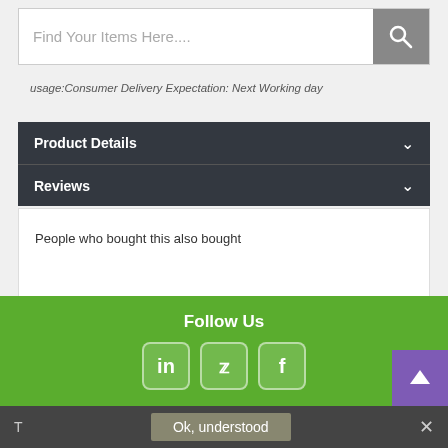Find Your Items Here....
usage:Consumer Delivery Expectation: Next Working day
Product Details
Reviews
People who bought this also bought
Follow Us
[Figure (other): Social media icons: LinkedIn, Twitter, Facebook]
T  Ok, understood  ×